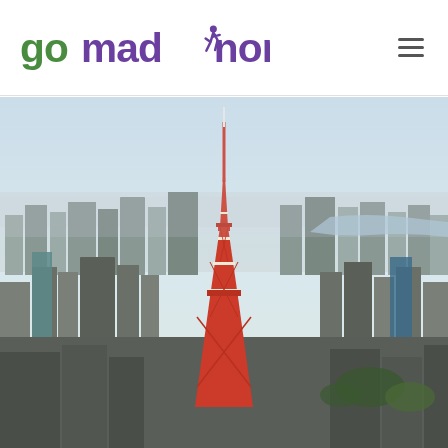gomadnomad
[Figure (photo): Aerial cityscape of Tokyo with Tokyo Tower prominently in the center, surrounded by dense urban skyline of skyscrapers and buildings, with a hazy blue sky and distant bay visible in the background.]